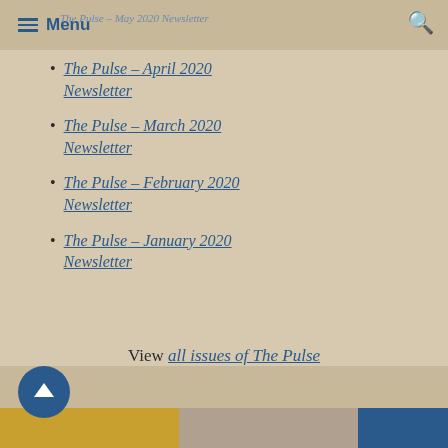Menu | The Pulse – May 2020 Newsletter
The Pulse – April 2020 Newsletter
The Pulse – March 2020 Newsletter
The Pulse – February 2020 Newsletter
The Pulse – January 2020 Newsletter
View all issues of The Pulse